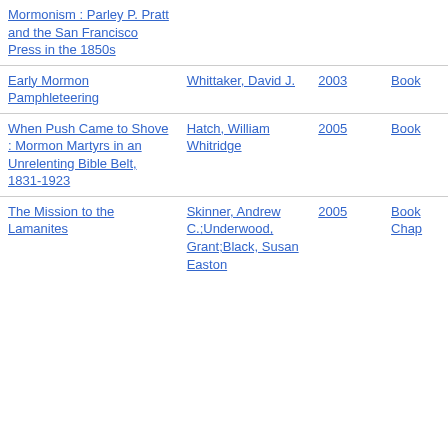| Title | Author | Year | Type |
| --- | --- | --- | --- |
| Mormonism : Parley P. Pratt and the San Francisco Press in the 1850s |  |  |  |
| Early Mormon Pamphleteering | Whittaker, David J. | 2003 | Book |
| When Push Came to Shove : Mormon Martyrs in an Unrelenting Bible Belt, 1831-1923 | Hatch, William Whitridge | 2005 | Book |
| The Mission to the Lamanites | Skinner, Andrew C.;Underwood, Grant;Black, Susan Easton | 2005 | Book Chap |